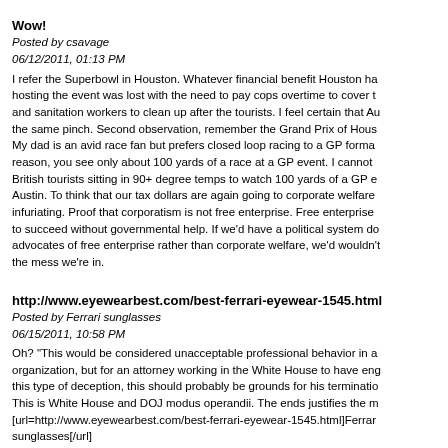Wow!
Posted by csavage
06/12/2011, 01:13 PM
I refer the Superbowl in Houston. Whatever financial benefit Houston ha... hosting the event was lost with the need to pay cops overtime to cover t... and sanitation workers to clean up after the tourists. I feel certain that Au... the same pinch. Second observation, remember the Grand Prix of Hous... My dad is an avid race fan but prefers closed loop racing to a GP forma... reason, you see only about 100 yards of a race at a GP event. I cannot ... British tourists sitting in 90+ degree temps to watch 100 yards of a GP e... Austin. To think that our tax dollars are again going to corporate welfare ... infuriating. Proof that corporatism is not free enterprise. Free enterprise ... to succeed without governmental help. If we'd have a political system do... advocates of free enterprise rather than corporate welfare, we'd wouldn't... the mess we're in.
http://www.eyewearbest.com/best-ferrari-eyewear-1545.html
Posted by Ferrari sunglasses
06/15/2011, 10:58 PM
Oh? "This would be considered unacceptable professional behavior in a... organization, but for an attorney working in the White House to have eng... this type of deception, this should probably be grounds for his terminatio... This is White House and DOJ modus operandii. The ends justifies the m... [url=http://www.eyewearbest.com/best-ferrari-eyewear-1545.html]Ferrar... sunglasses[/url]